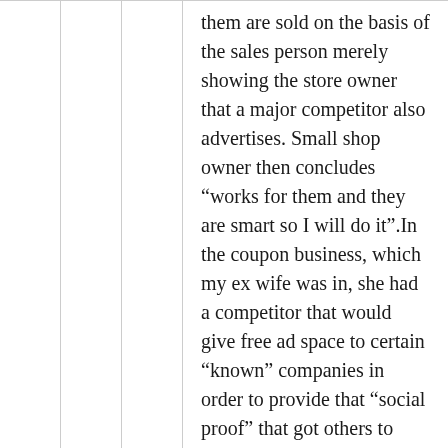them are sold on the basis of the sales person merely showing the store owner that a major competitor also advertises. Small shop owner then concludes “works for them and they are smart so I will do it”.In the coupon business, which my ex wife was in, she had a competitor that would give free ad space to certain “known” companies in order to provide that “social proof” that got others to advertise at full rack rate.I’ve done that as well in other businesses. You sell a printing job below cost and gain a big account. You then use that big account to get other accounts that pay full